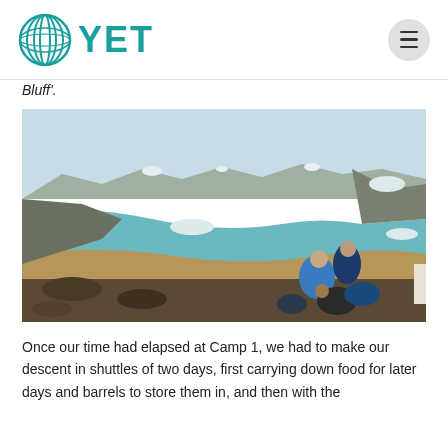YET
Bluff'.
[Figure (photo): Landscape photograph taken from a rocky elevated viewpoint. Several people are sitting and resting on the rocks in the foreground right. In the background is a wide glacial river delta or bay with turquoise/teal water, brown sandy flats, and rocky hills with patches of snow under a hazy sky.]
Once our time had elapsed at Camp 1, we had to make our descent in shuttles of two days, first carrying down food for later days and barrels to store them in, and then with the